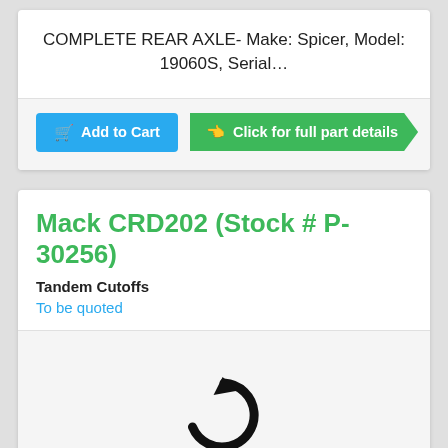COMPLETE REAR AXLE- Make: Spicer, Model: 19060S, Serial…
Add to Cart
Click for full part details
Mack CRD202 (Stock # P-30256)
Tandem Cutoffs
To be quoted
[Figure (illustration): Loading spinner / refresh icon in black]